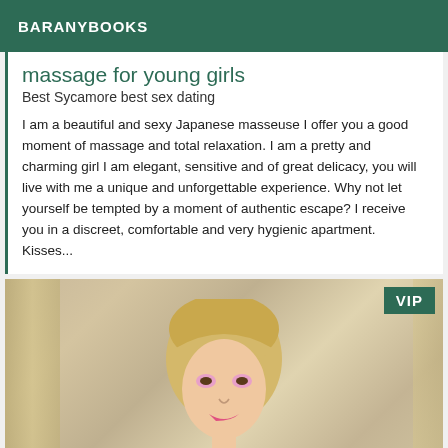BARANYBOOKS
massage for young girls
Best Sycamore best sex dating
I am a beautiful and sexy Japanese masseuse I offer you a good moment of massage and total relaxation. I am a pretty and charming girl I am elegant, sensitive and of great delicacy, you will live with me a unique and unforgettable experience. Why not let yourself be tempted by a moment of authentic escape? I receive you in a discreet, comfortable and very hygienic apartment. Kisses...
[Figure (photo): Blonde woman with pink eyeshadow in front of gold/beige curtains, with a VIP badge in the top right corner]